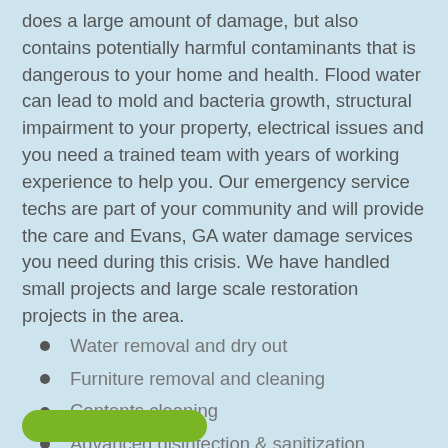does a large amount of damage, but also contains potentially harmful contaminants that is dangerous to your home and health. Flood water can lead to mold and bacteria growth, structural impairment to your property, electrical issues and you need a trained team with years of working experience to help you. Our emergency service techs are part of your community and will provide the care and Evans, GA water damage services you need during this crisis. We have handled small projects and large scale restoration projects in the area.
Water removal and dry out
Furniture removal and cleaning
Contents cleaning
Advanced disinfection & sanitization
Mold prevention expertise